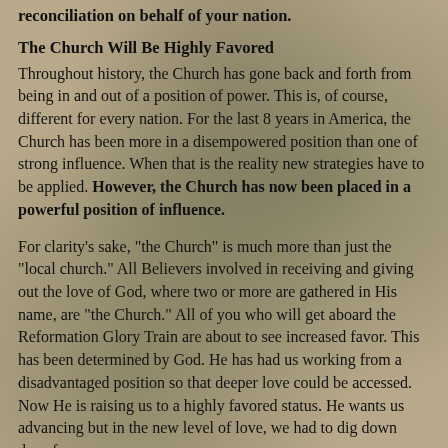reconciliation on behalf of your nation.
The Church Will Be Highly Favored
Throughout history, the Church has gone back and forth from being in and out of a position of power. This is, of course, different for every nation. For the last 8 years in America, the Church has been more in a disempowered position than one of strong influence. When that is the reality new strategies have to be applied. However, the Church has now been placed in a powerful position of influence.
For clarity's sake, "the Church" is much more than just the "local church." All Believers involved in receiving and giving out the love of God, where two or more are gathered in His name, are "the Church." All of you who will get aboard the Reformation Glory Train are about to see increased favor. This has been determined by God. He has had us working from a disadvantaged position so that deeper love could be accessed. Now He is raising us to a highly favored status. He wants us advancing but in the new level of love, we had to dig down deep for.